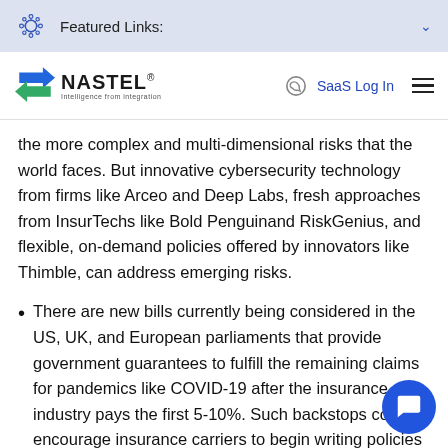Featured Links:
[Figure (logo): Nastel logo with tagline 'Intelligence from integration', SaaS Log In link and hamburger menu]
the more complex and multi-dimensional risks that the world faces. But innovative cybersecurity technology from firms like Arceo and Deep Labs, fresh approaches from InsurTechs like Bold Penguinand RiskGenius, and flexible, on-demand policies offered by innovators like Thimble, can address emerging risks.
There are new bills currently being considered in the US, UK, and European parliaments that provide government guarantees to fulfill the remaining claims for pandemics like COVID-19 after the insurance industry pays the first 5-10%. Such backstops could encourage insurance carriers to begin writing policies for emerging